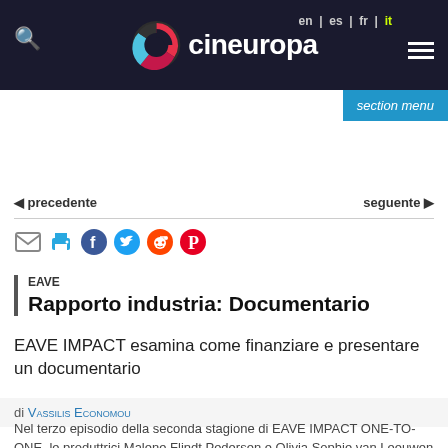cineuropa — en | es | fr | it
◀ precedente    seguente ▶
[Figure (other): Social sharing icons: email, print, Facebook, Twitter, Reddit, Pinterest]
EAVE
Rapporto industria: Documentario
EAVE IMPACT esamina come finanziare e presentare un documentario
di Vassilis Economou
Nel terzo episodio della seconda stagione di EAVE IMPACT ONE-TO-ONE, le produttrici Malene Flindt Pedersen e Olivia Sophie van Leeuwen si focalizzano sul finanziamento dei doc